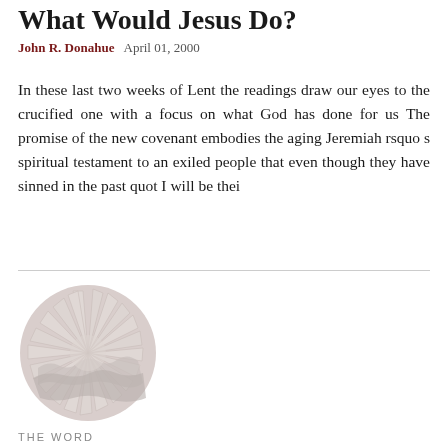What Would Jesus Do?
John R. Donahue   April 01, 2000
In these last two weeks of Lent the readings draw our eyes to the crucified one with a focus on what God has done for us The promise of the new covenant embodies the aging Jeremiah rsquo s spiritual testament to an exiled people that even though they have sinned in the past quot I will be thei
[Figure (logo): Circular sunburst logo with radiating lines, light beige/gray color]
THE WORD
Grace Abounding